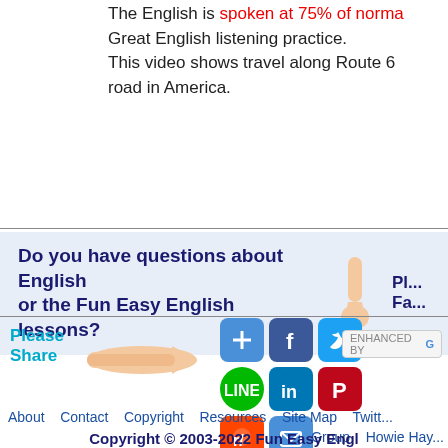The English is spoken at 75% of norma... Great English listening practice. This video shows travel along Route 6... road in America.
Do you have questions about English or the Fun Easy English lessons?
[Figure (illustration): Hand pointing down (thumbs down gesture) in the banner section]
Please Share
[Figure (illustration): Hand pointing right for social share section]
[Figure (infographic): Social media sharing buttons grid: plus, facebook, twitter, LINE, linkedin, pinterest, reddit, email]
ENHANCED BY G...
About   Contact   Copyright   Resources   Site Map   Twitt... Group   Howie Hay...
Copyright © 2003-2022 Fun Easy Engl...